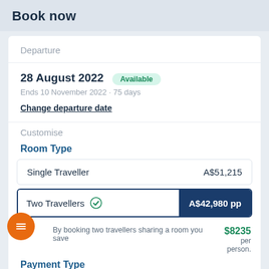Book now
Departure
28 August 2022  Available
Ends 10 November 2022 · 75 days
Change departure date
Customise
Room Type
| Room Type | Price |
| --- | --- |
| Single Traveller | A$51,215 |
| Two Travellers | A$42,980 pp |
By booking two travellers sharing a room you save  $8235 per person.
Payment Type